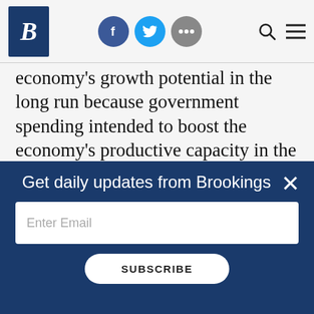Brookings Institution website header with logo, social icons (Facebook, Twitter, More), search and menu buttons
economy's growth potential in the long run because government spending intended to boost the economy's productive capacity in the long run will generally also increase short-run aggregate demand. Government spending acts as fiscal stimulus whether the government is buying food or a supercomputer that may lead to scientific breakthroughs and greater growth potential.
Get daily updates from Brookings
Enter Email
SUBSCRIBE